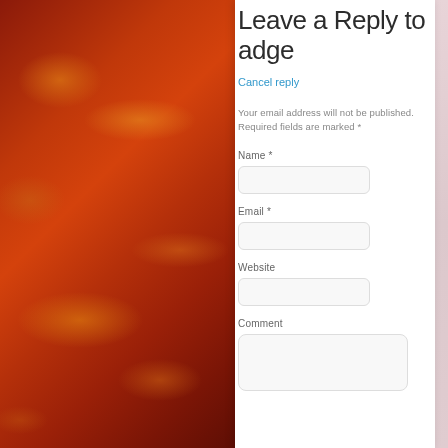[Figure (photo): Dramatic red-orange cloudy sky background photo on the left side of the page]
Leave a Reply to adge
Cancel reply
Your email address will not be published. Required fields are marked *
Name *
Email *
Website
Comment